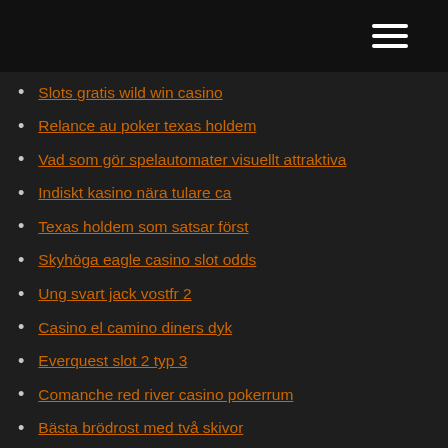Slots gratis wild win casino
Relance au poker texas holdem
Vad som gör spelautomater visuellt attraktiva
Indiskt kasino nära tulare ca
Texas holdem som satsar först
Skyhöga eagle casino slot odds
Ung svart jack vostfr 2
Casino el camino diners dyk
Everquest slot 2 typ 3
Comanche red river casino pokerrum
Bästa brödrost med två skivor
No limit texas holdem online cash game strategi
Titel p90 3 slot diamant 3
289 blackjack road trussville al